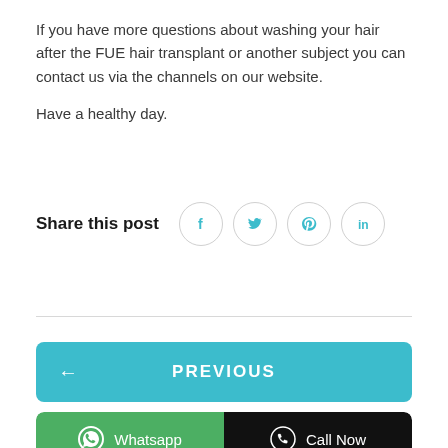If you have more questions about washing your hair after the FUE hair transplant or another subject you can contact us via the channels on our website.

Have a healthy day.
Share this post
[Figure (infographic): Social media share icons: Facebook, Twitter, Pinterest, LinkedIn — circular outlined buttons with teal icons]
← PREVIOUS
Whatsapp
Call Now